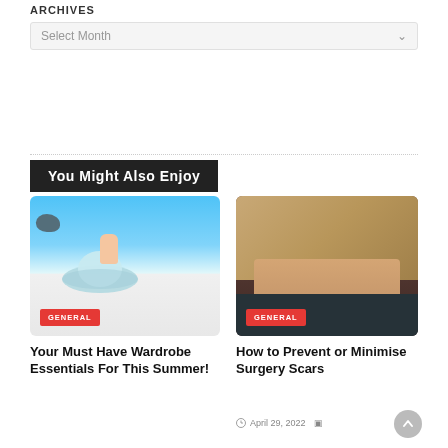ARCHIVES
Select Month
You Might Also Enjoy
[Figure (photo): Person lying on beach with blue sunhat, blue sky and ocean in background. Red GENERAL badge overlay bottom-left.]
[Figure (photo): Elderly person's hands holding a yellow ball, being assisted by caregiver. Red GENERAL badge overlay bottom-left.]
Your Must Have Wardrobe Essentials For This Summer!
How to Prevent or Minimise Surgery Scars
April 29, 2022